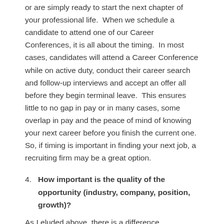or are simply ready to start the next chapter of your professional life.  When we schedule a candidate to attend one of our Career Conferences, it is all about the timing.  In most cases, candidates will attend a Career Conference while on active duty, conduct their career search and follow-up interviews and accept an offer all before they begin terminal leave.  This ensures little to no gap in pay or in many cases, some overlap in pay and the peace of mind of knowing your next career before you finish the current one.  So, if timing is important in finding your next job, a recruiting firm may be a great option.
4. How important is the quality of the opportunity (industry, company, position, growth)?
As I eluded above, there is a difference